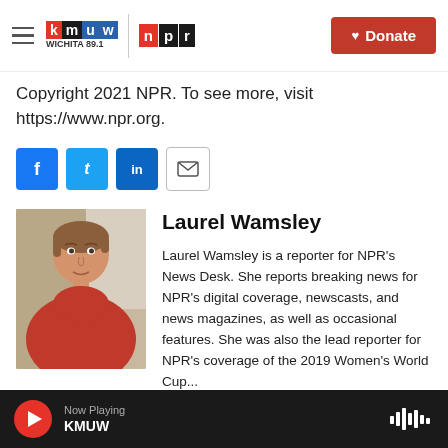KMUW Wichita 89.1 | NPR — Donate
Copyright 2021 NPR. To see more, visit https://www.npr.org.
[Figure (infographic): Social sharing buttons: Facebook, Twitter, LinkedIn, Email]
[Figure (photo): Headshot photo of Laurel Wamsley, a woman with short brown hair wearing a red top]
Laurel Wamsley
Laurel Wamsley is a reporter for NPR's News Desk. She reports breaking news for NPR's digital coverage, newscasts, and news magazines, as well as occasional features. She was also the lead reporter for NPR's coverage of the 2019 Women's World Cup...
Now Playing KMUW